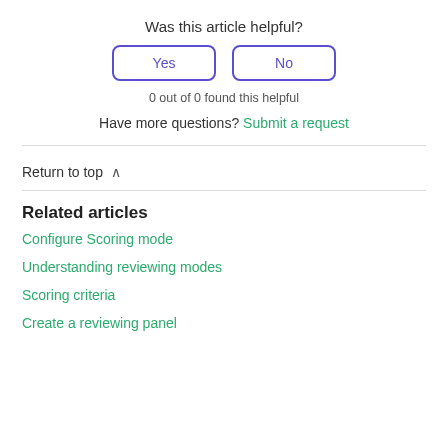Was this article helpful?
Yes   No
0 out of 0 found this helpful
Have more questions? Submit a request
Return to top ∧
Related articles
Configure Scoring mode
Understanding reviewing modes
Scoring criteria
Create a reviewing panel